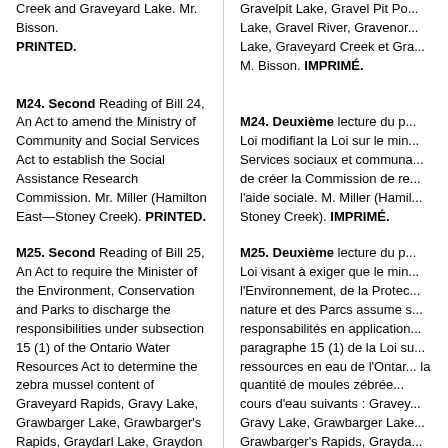Creek and Graveyard Lake. Mr. Bisson. PRINTED.
Gravelpit Lake, Gravel Pit Po... Lake, Gravel River, Gravenor... Lake, Graveyard Creek et Gra... M. Bisson. IMPRIMÉ.
M24. Second Reading of Bill 24, An Act to amend the Ministry of Community and Social Services Act to establish the Social Assistance Research Commission. Mr. Miller (Hamilton East—Stoney Creek). PRINTED.
M24. Deuxième lecture du p... Loi modifiant la Loi sur le min... Services sociaux et communa... de créer la Commission de re... l'aide sociale. M. Miller (Hamil... Stoney Creek). IMPRIMÉ.
M25. Second Reading of Bill 25, An Act to require the Minister of the Environment, Conservation and Parks to discharge the responsibilities under subsection 15 (1) of the Ontario Water Resources Act to determine the zebra mussel content of Graveyard Rapids, Gravy Lake, Grawbarger Lake, Grawbarger's Rapids, Graydarl Lake, Graydon Lake, Gray Lake, Grayling Lake, Graymud Lake, Gray Rapids, Grays Bay, Grays Creek, Grays Lake, Grayson Lake,
M25. Deuxième lecture du p... Loi visant à exiger que le min... l'Environnement, de la Protec... nature et des Parcs assume s... responsabilités en application... paragraphe 15 (1) de la Loi su... ressources en eau de l'Ontar... la quantité de moules zébrée... cours d'eau suivants : Gravey... Gravy Lake, Grawbarger Lake... Grawbarger's Rapids, Grayda...